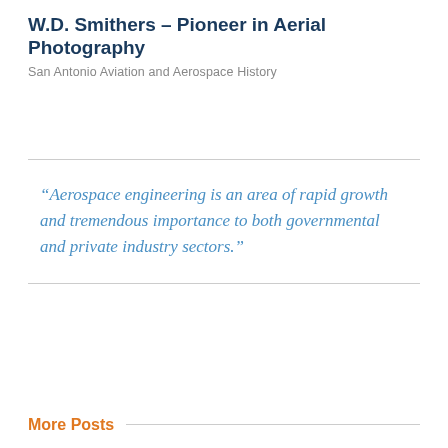W.D. Smithers – Pioneer in Aerial Photography
San Antonio Aviation and Aerospace History
“Aerospace engineering is an area of rapid growth and tremendous importance to both governmental and private industry sectors.”
More Posts
JFK touted space medicine at Brooks
San Antonio Aviation and Aerospace History